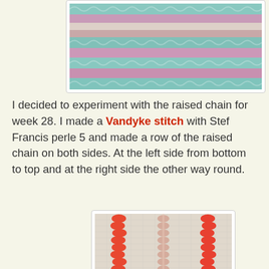[Figure (photo): Close-up photograph of embroidery stitches in multiple rows of teal, pink, cream, and muted pastel colors on fabric, showing raised chain and Vandyke stitches in horizontal bands.]
I decided to experiment with the raised chain for week 28. I made a Vandyke stitch with Stef Francis perle 5 and made a row of the raised chain on both sides. At the left side from bottom to top and at the right side the other way round.
[Figure (photo): Close-up photograph of embroidery on canvas showing two columns of raised chain stitch in coral/red thread flanking a central column of Vandyke stitch in light beige/pink variegated thread.]